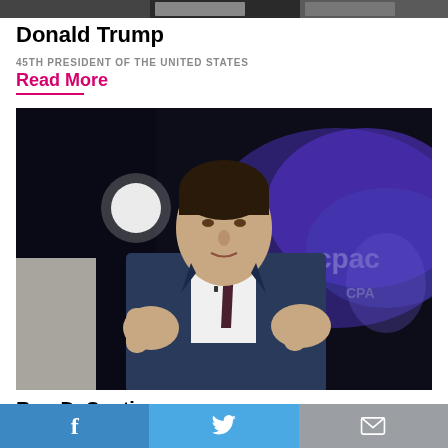[Figure (photo): Partial image strip at top of page, appears to be cropped photo content]
Donald Trump
45TH PRESIDENT OF THE UNITED STATES
Read More
[Figure (photo): Ron DeSantis in a navy blue suit with dark tie, gesturing with both hands raised, speaking on a stage with blue and purple lighting background, appears to be a CPAC event]
Ron DeSantis